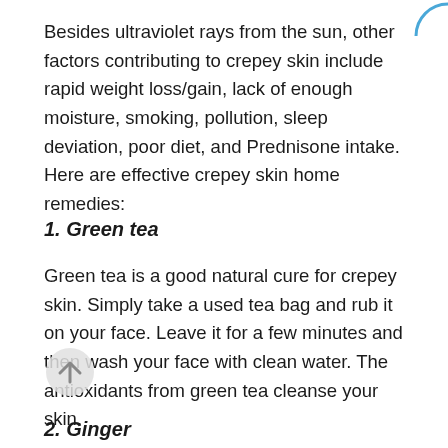Besides ultraviolet rays from the sun, other factors contributing to crepey skin include rapid weight loss/gain, lack of enough moisture, smoking, pollution, sleep deviation, poor diet, and Prednisone intake. Here are effective crepey skin home remedies:
1. Green tea
Green tea is a good natural cure for crepey skin. Simply take a used tea bag and rub it on your face. Leave it for a few minutes and then wash your face with clean water. The antioxidants from green tea cleanse your skin.
2. Ginger